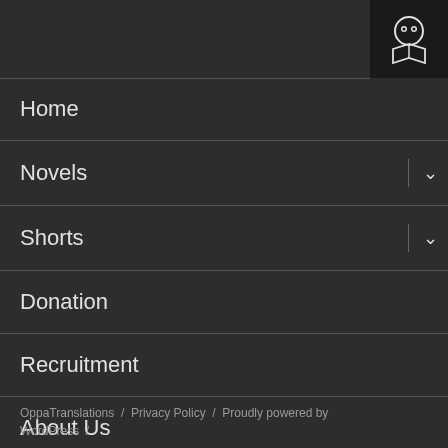[Figure (logo): Black square with a cartoon face icon (two dot eyes) and an open book icon below it — website logo for OppaTranslations]
Home
Novels
Shorts
Donation
Recruitment
About Us
Contact Us
OppaTranslations  /  Privacy Policy  /  Proudly powered by WordPress  /